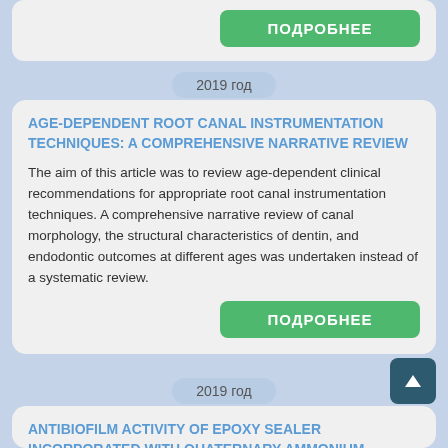ПОДРОБНЕЕ
2019 год
AGE-DEPENDENT ROOT CANAL INSTRUMENTATION TECHNIQUES: A COMPREHENSIVE NARRATIVE REVIEW
The aim of this article was to review age-dependent clinical recommendations for appropriate root canal instrumentation techniques. A comprehensive narrative review of canal morphology, the structural characteristics of dentin, and endodontic outcomes at different ages was undertaken instead of a systematic review.
ПОДРОБНЕЕ
2019 год
ANTIBIOFILM ACTIVITY OF EPOXY SEALER INCORPORATED WITH QUATERNARY AMMONIUM